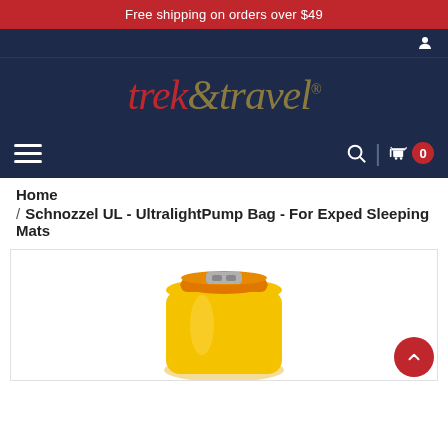Free shipping on orders over $49
[Figure (logo): Trek & Travel logo with red 'trek' and gold 'travel' text on dark navy background]
Home
/ Schnozzel UL - UltralightPump Bag - For Exped Sleeping Mats
[Figure (photo): Yellow dry bag / pump bag with orange rolled top and silver buckle clasp, on white background]